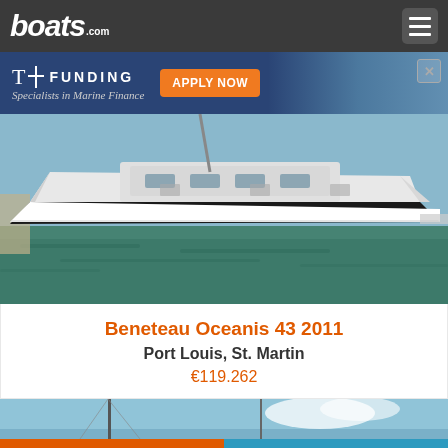boats.com
[Figure (photo): Trident Funding advertisement banner — Specialists in Marine Finance, with APPLY NOW button and boat photo background]
[Figure (photo): White sailing yacht (Beneteau Oceanis 43) moored at dock with dark teal water below]
Beneteau Oceanis 43 2011
Port Louis, St. Martin
€119.262
[Figure (photo): Partial view of a sailing yacht mast against blue sky with clouds — bottom of screen]
Kontaktieren
Anrufen